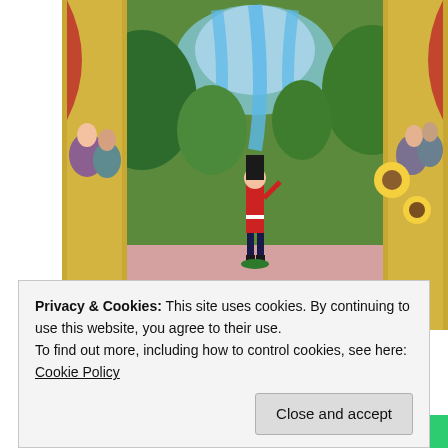[Figure (illustration): A colorful folk-art style illustration of a theater stage scene. A tin soldier figure in red uniform salutes on a pink stage floor, surrounded by an elaborate painted backdrop with trees, a waterfall, and lush greenery. Ornate gold pillars flank the stage with painted audience figures in theater boxes on each side. Below the stage, musicians in blue playing instruments are depicted in a decorative frieze.]
Man of TIN salutes and sings a fine patriotic song! (My home cast Prince August 'avatar')
Privacy & Cookies: This site uses cookies. By continuing to use this website, you agree to their use.
To find out more, including how to control cookies, see here: Cookie Policy
[Figure (illustration): Partial view of another colorful illustration strip at the bottom of the page, similar decorative folk-art style with vibrant colors.]